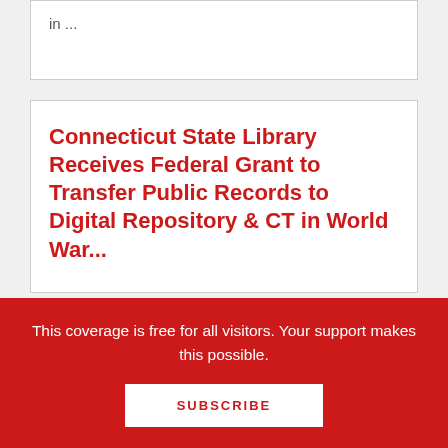in ...
Connecticut State Library Receives Federal Grant to Transfer Public Records to Digital Repository & CT in World War...
Two news items below. CT State Library Receives $900K Federal Grant to Transfer Public Records to Digital Repository From News 12 Connecticut: The Connecticut State Library in Hartford has received ...
This coverage is free for all visitors. Your support makes this possible.
SUBSCRIBE